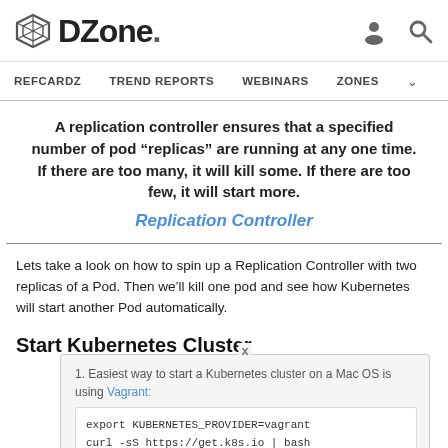DZone. [navigation: REFCARDZ, TREND REPORTS, WEBINARS, ZONES]
A replication controller ensures that a specified number of pod “replicas” are running at any one time. If there are too many, it will kill some. If there are too few, it will start more.
Replication Controller
Lets take a look on how to spin up a Replication Controller with two replicas of a Pod. Then we’ll kill one pod and see how Kubernetes will start another Pod automatically.
Start Kubernetes Cluster
1. Easiest way to start a Kubernetes cluster on a Mac OS is using Vagrant:
export KUBERNETES_PROVIDER=vagrant
curl -sS https://get.k8s.io | bash